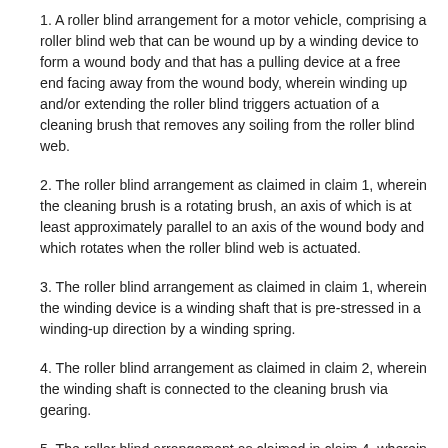1. A roller blind arrangement for a motor vehicle, comprising a roller blind web that can be wound up by a winding device to form a wound body and that has a pulling device at a free end facing away from the wound body, wherein winding up and/or extending the roller blind triggers actuation of a cleaning brush that removes any soiling from the roller blind web.
2. The roller blind arrangement as claimed in claim 1, wherein the cleaning brush is a rotating brush, an axis of which is at least approximately parallel to an axis of the wound body and which rotates when the roller blind web is actuated.
3. The roller blind arrangement as claimed in claim 1, wherein the winding device is a winding shaft that is pre-stressed in a winding-up direction by a winding spring.
4. The roller blind arrangement as claimed in claim 2, wherein the winding shaft is connected to the cleaning brush via gearing.
5. The roller blind arrangement as claimed in claim 4, wherein the gearing comprises a toothed belt or a V-belt, which is arranged on pinions or belt pulleys of the winding shaft and of the cleaning brush.
6. The roller blind arrangement as claimed in claim 4, wherein the gearing